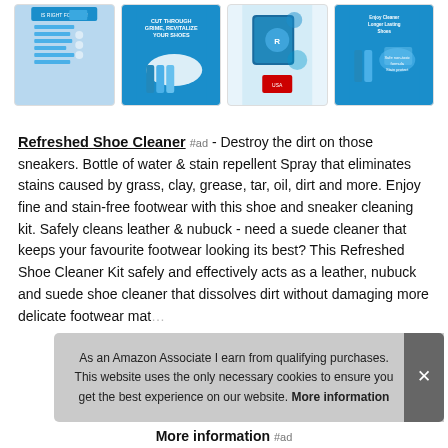[Figure (photo): Row of four product thumbnail images showing shoe cleaner products against blue backgrounds]
Refreshed Shoe Cleaner #ad - Destroy the dirt on those sneakers. Bottle of water & stain repellent Spray that eliminates stains caused by grass, clay, grease, tar, oil, dirt and more. Enjoy fine and stain-free footwear with this shoe and sneaker cleaning kit. Safely cleans leather & nubuck - need a suede cleaner that keeps your favourite footwear looking its best? This Refreshed Shoe Cleaner Kit safely and effectively acts as a leather, nubuck and suede shoe cleaner that dissolves dirt without damaging more delicate footwear mat...
As an Amazon Associate I earn from qualifying purchases. This website uses the only necessary cookies to ensure you get the best experience on our website. More information
More information #ad